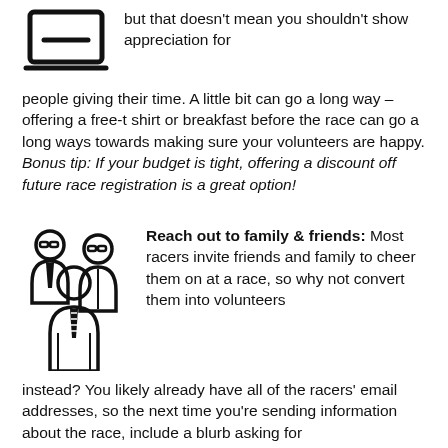[Figure (illustration): Icon of a laptop/computer screen with a minus sign, representing digital/online content]
but that doesn't mean you shouldn't show appreciation for people giving their time. A little bit can go a long way – offering a free-t shirt or breakfast before the race can go a long ways towards making sure your volunteers are happy. Bonus tip: If your budget is tight, offering a discount off future race registration is a great option!
[Figure (illustration): Icon of three people (family/friends group) with glasses and ties]
Reach out to family & friends: Most racers invite friends and family to cheer them on at a race, so why not convert them into volunteers instead? You likely already have all of the racers' email addresses, so the next time you're sending information about the race, include a blurb asking for